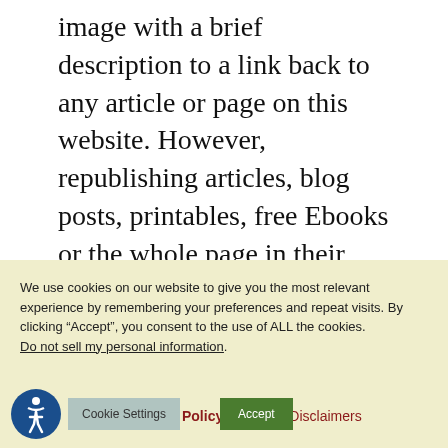image with a brief description to a link back to any article or page on this website. However, republishing articles, blog posts, printables, free Ebooks or the whole page in their entirety is prohibited. But pinning is always encouraged! Thank you for sharing the content of this blog.
We use cookies on our website to give you the most relevant experience by remembering your preferences and repeat visits. By clicking “Accept”, you consent to the use of ALL the cookies.
Do not sell my personal information.
Contact | Privacy Policy | Terms | Disclaimers